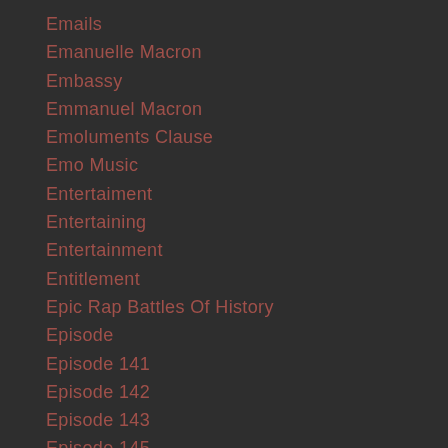Emails
Emanuelle Macron
Embassy
Emmanuel Macron
Emoluments Clause
Emo Music
Entertaiment
Entertaining
Entertainment
Entitlement
Epic Rap Battles Of History
Episode
Episode 141
Episode 142
Episode 143
Episode 145
Episode 146
Episode 147
Episode 148
Episode 149